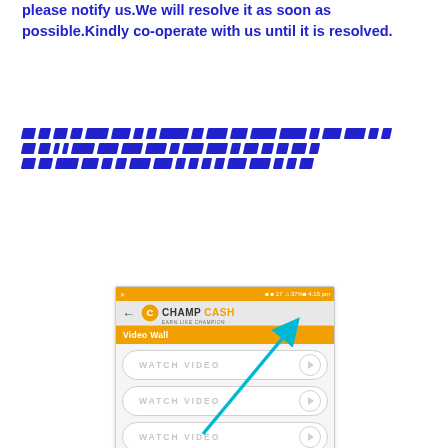please notify us.We will resolve it as soon as possible.Kindly co-operate with us until it is resolved.
[redacted text lines]
[Figure (screenshot): Mobile app screenshot of ChampCash app showing 'Video Wall' page with 5 'WATCH VIDEO' buttons, and a cyan arrow pointing to the first button's play icon]